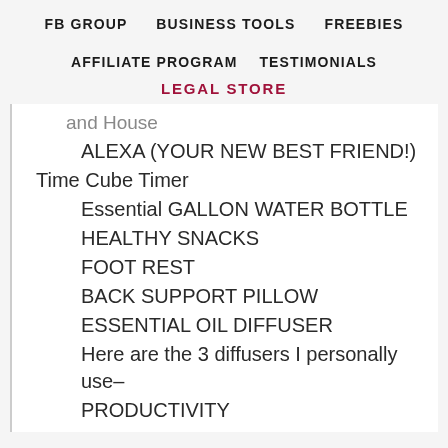FB GROUP   BUSINESS TOOLS   FREEBIES
AFFILIATE PROGRAM   TESTIMONIALS
LEGAL STORE
and House
ALEXA (YOUR NEW BEST FRIEND!)
Time Cube Timer
Essential GALLON WATER BOTTLE
HEALTHY SNACKS
FOOT REST
BACK SUPPORT PILLOW
ESSENTIAL OIL DIFFUSER
Here are the 3 diffusers I personally use–
PRODUCTIVITY